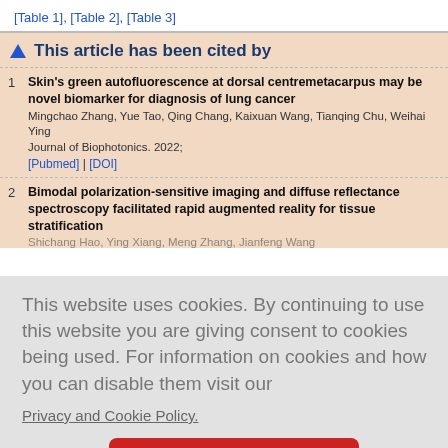[Table 1], [Table 2], [Table 3]
This article has been cited by
1. Skin's green autofluorescence at dorsal centremetacarpus may be novel biomarker for diagnosis of lung cancer. Mingchao Zhang, Yue Tao, Qing Chang, Kaixuan Wang, Tianqing Chu, Weihai Ying. Journal of Biophotonics. 2022; [Pubmed] | [DOI]
2. Bimodal polarization-sensitive imaging and diffuse reflectance spe... facilitated rapid augmented reality for tissue stratification. Shichang Hao, Ying Xiang, Meng Zhang, Jianfeng Wang...
This website uses cookies. By continuing to use this website you are giving consent to cookies being used. For information on cookies and how you can disable them visit our Privacy and Cookie Policy.
AGREE & PROCEED
A Review o... hallenges... ar, Narayana...
letection... Vinay SURE...
5. Superior in vivo Wound-Healing Activity of Mycosynthesized Silver...